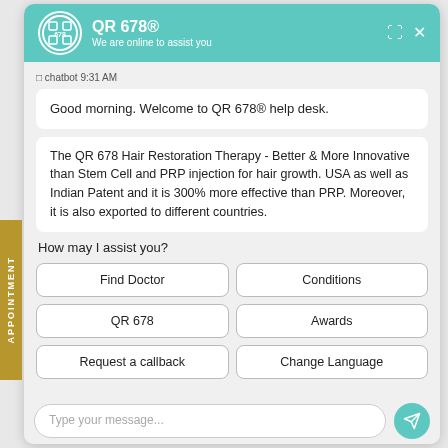QR 678® — We are online to assist you
chatbot 9:31 AM
Good morning. Welcome to QR 678® help desk.
The QR 678 Hair Restoration Therapy - Better & More Innovative than Stem Cell and PRP injection for hair growth. USA as well as Indian Patent and it is 300% more effective than PRP. Moreover, it is also exported to different countries.
How may I assist you?
Find Doctor
Conditions
QR 678
Awards
Request a callback
Change Language
Type your message...
Powered by Kenyt.AI